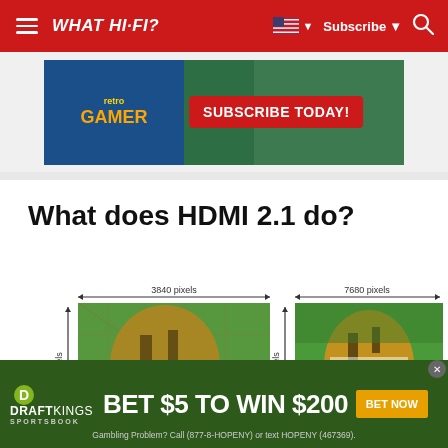WHAT HI-FI? Subscribe
[Figure (screenshot): Retro Gamer magazine subscription advertisement banner with Sonic the Hedgehog and school supplies on green background. Red button reads SUBSCRIBE TODAY!]
What does HDMI 2.1 do?
[Figure (infographic): Side-by-side comparison of 4K (3840x2160 pixels) and 8K (7680x4320 pixels) resolution images of a tiger, showing pixel grid overlay on the 4K image.]
[Figure (screenshot): DraftKings Sportsbook advertisement banner: BET $5 TO WIN $200 with BET NOW button. Gambling Problem? Call (877-8-HOPENY) or text HOPENY (467369).]